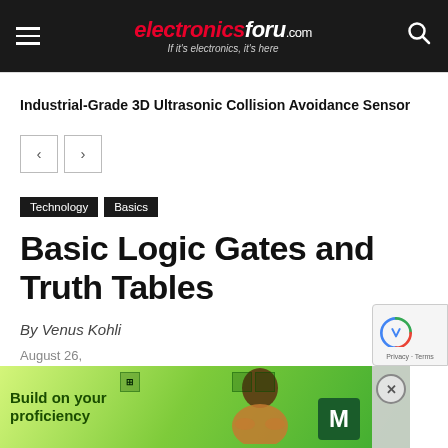electronicsforu.com — If it's electronics, it's here
Industrial-Grade 3D Ultrasonic Collision Avoidance Sensor
Technology  Basics
Basic Logic Gates and Truth Tables
By Venus Kohli
August 26,
[Figure (screenshot): Bottom advertisement banner: 'Build on your proficiency' with green gradient background, person image, M icon, and close button. reCAPTCHA badge visible at bottom right.]